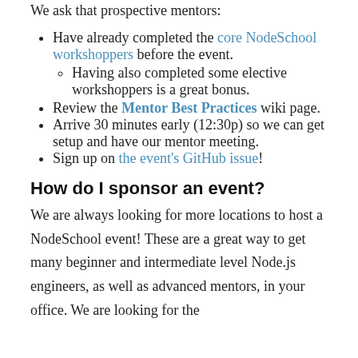We ask that prospective mentors:
Have already completed the core NodeSchool workshoppers before the event.
Having also completed some elective workshoppers is a great bonus.
Review the Mentor Best Practices wiki page.
Arrive 30 minutes early (12:30p) so we can get setup and have our mentor meeting.
Sign up on the event's GitHub issue!
How do I sponsor an event?
We are always looking for more locations to host a NodeSchool event! These are a great way to get many beginner and intermediate level Node.js engineers, as well as advanced mentors, in your office. We are looking for the